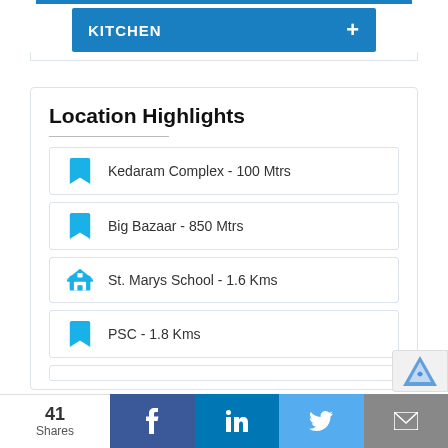KITCHEN +
Location Highlights
Kedaram Complex - 100 Mtrs
Big Bazaar - 850 Mtrs
St. Marys School - 1.6 Kms
PSC - 1.8 Kms
41 Shares